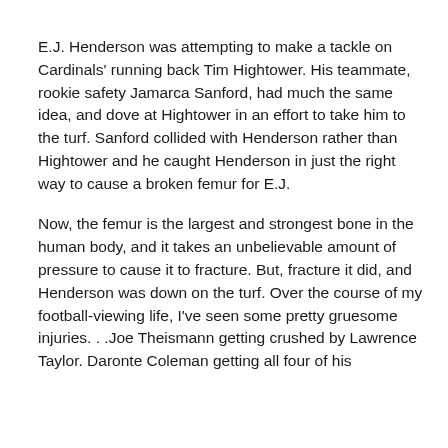E.J. Henderson was attempting to make a tackle on Cardinals' running back Tim Hightower. His teammate, rookie safety Jamarca Sanford, had much the same idea, and dove at Hightower in an effort to take him to the turf. Sanford collided with Henderson rather than Hightower and he caught Henderson in just the right way to cause a broken femur for E.J.
Now, the femur is the largest and strongest bone in the human body, and it takes an unbelievable amount of pressure to cause it to fracture. But, fracture it did, and Henderson was down on the turf. Over the course of my football-viewing life, I've seen some pretty gruesome injuries. . .Joe Theismann getting crushed by Lawrence Taylor. Daronte Coleman getting all four of his...